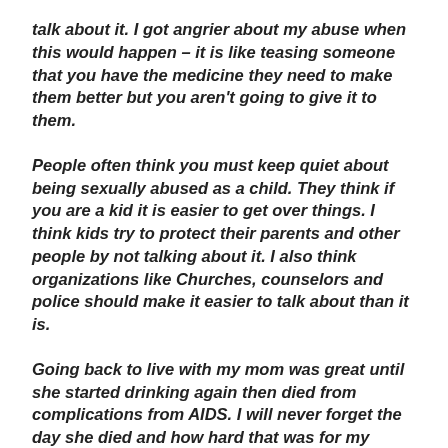talk about it. I got angrier about my abuse when this would happen – it is like teasing someone that you have the medicine they need to make them better but you aren't going to give it to them.
People often think you must keep quiet about being sexually abused as a child. They think if you are a kid it is easier to get over things. I think kids try to protect their parents and other people by not talking about it. I also think organizations like Churches, counselors and police should make it easier to talk about than it is.
Going back to live with my mom was great until she started drinking again then died from complications from AIDS. I will never forget the day she died and how hard that was for my brother and me. He has his